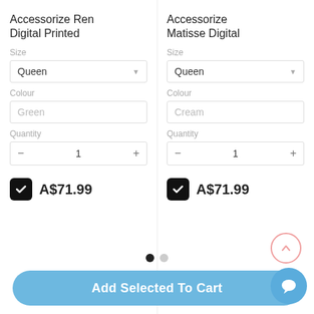Accessorize Ren Digital Printed
Size
Queen
Colour
Green
Quantity
- 1 +
A$71.99
Accessorize Matisse Digital
Size
Queen
Colour
Cream
Quantity
- 1 +
A$71.99
Total:  A$287.96
Add Selected To Cart